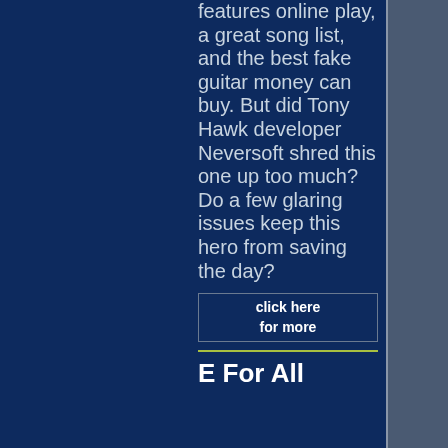features online play, a great song list, and the best fake guitar money can buy. But did Tony Hawk developer Neversoft shred this one up too much? Do a few glaring issues keep this hero from saving the day?
click here for more
E For All